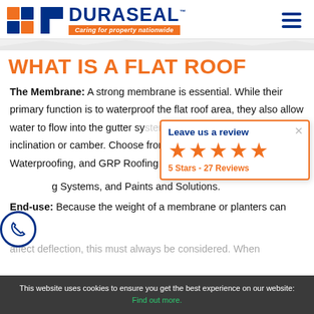[Figure (logo): Duraseal logo with orange and blue grid squares, blue text 'DURASEAL' and orange tagline 'Caring for property nationwide']
WHAT IS A FLAT ROOF
The Membrane: A strong membrane is essential. While their primary function is to waterproof the flat roof area, they also allow water to flow into the gutter system from a slight inclination or camber. Choose from R... Waterproofing, and GRP Roofing Sys... ...ple Ph... Systems, and Paints and Solutions.
[Figure (infographic): Review popup overlay showing 'Leave us a review' with 5 orange stars and '5 Stars - 27 Reviews']
End-use: Because the weight of a membrane or planters can affect deflection, this must always be considered. When...
This website uses cookies to ensure you get the best experience on our website: Find out more.